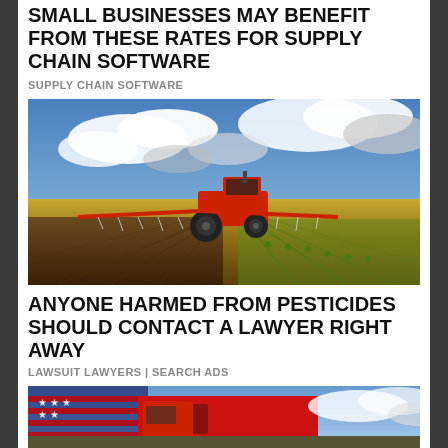SMALL BUSINESSES MAY BENEFIT FROM THESE RATES FOR SUPPLY CHAIN SOFTWARE
SUPPLY CHAIN SOFTWARE
[Figure (photo): A red tractor spraying crops in a large farm field with dramatic cloudy sky overhead]
ANYONE HARMED FROM PESTICIDES SHOULD CONTACT A LAWYER RIGHT AWAY
LAWSUIT LAWYERS | SEARCH ADS
[Figure (photo): A red truck building with an American flag overlay, partly visible at the bottom of the page]